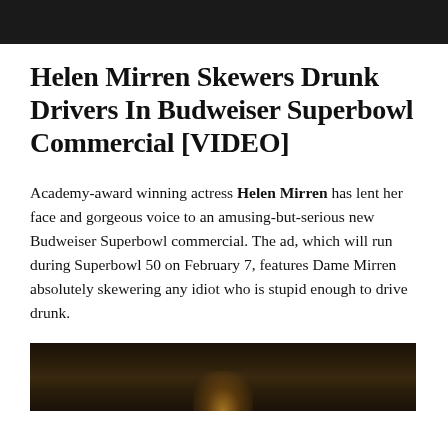[Figure (photo): Dark banner image at the top of the page, very dark background]
Helen Mirren Skewers Drunk Drivers In Budweiser Superbowl Commercial [VIDEO]
Academy-award winning actress Helen Mirren has lent her face and gorgeous voice to an amusing-but-serious new Budweiser Superbowl commercial. The ad, which will run during Superbowl 50 on February 7, features Dame Mirren absolutely skewering any idiot who is stupid enough to drive drunk.
[Figure (photo): Dark scene from the Budweiser commercial featuring Helen Mirren, dimly lit restaurant or bar setting with warm candlelight glow]